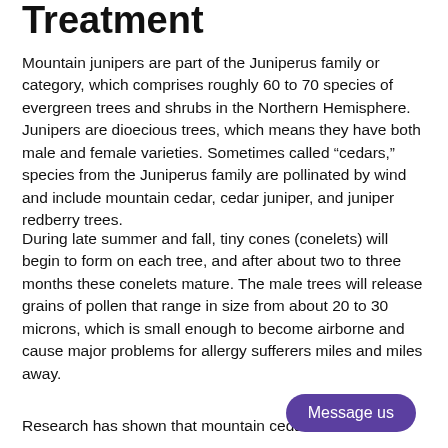Treatment
Mountain junipers are part of the Juniperus family or category, which comprises roughly 60 to 70 species of evergreen trees and shrubs in the Northern Hemisphere. Junipers are dioecious trees, which means they have both male and female varieties. Sometimes called “cedars,” species from the Juniperus family are pollinated by wind and include mountain cedar, cedar juniper, and juniper redberry trees.
During late summer and fall, tiny cones (conelets) will begin to form on each tree, and after about two to three months these conelets mature. The male trees will release grains of pollen that range in size from about 20 to 30 microns, which is small enough to become airborne and cause major problems for allergy sufferers miles and miles away.
Research has shown that mountain ceda…